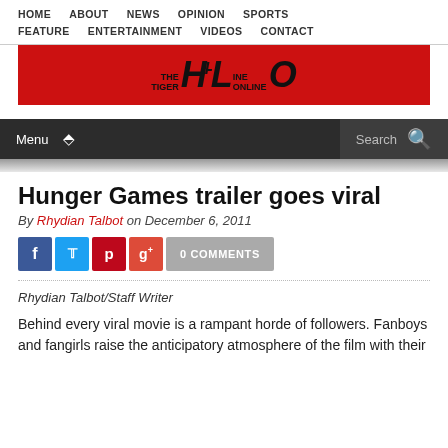HOME  ABOUT  NEWS  OPINION  SPORTS  FEATURE  ENTERTAINMENT  VIDEOS  CONTACT
[Figure (logo): The Tiger Hi-Line Online logo on red background]
Menu  Search
Hunger Games trailer goes viral
By Rhydian Talbot on December 6, 2011
0 COMMENTS
Rhydian Talbot/Staff Writer
Behind every viral movie is a rampant horde of followers. Fanboys and fangirls raise the anticipatory atmosphere of the film with their